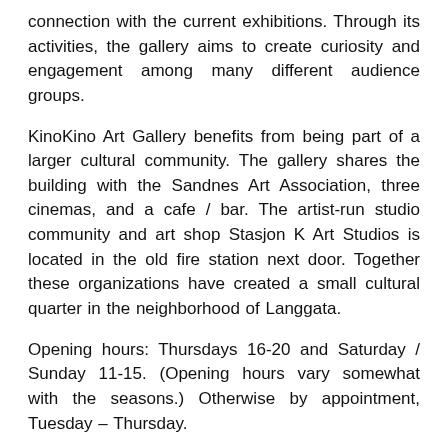connection with the current exhibitions. Through its activities, the gallery aims to create curiosity and engagement among many different audience groups.
KinoKino Art Gallery benefits from being part of a larger cultural community. The gallery shares the building with the Sandnes Art Association, three cinemas, and a cafe / bar. The artist-run studio community and art shop Stasjon K Art Studios is located in the old fire station next door. Together these organizations have created a small cultural quarter in the neighborhood of Langgata.
Opening hours: Thursdays 16-20 and Saturday / Sunday 11-15. (Opening hours vary somewhat with the seasons.) Otherwise by appointment, Tuesday – Thursday.
For more information about the art gallery, visit their website, here.:https://www.sandnes-kulturhus.no/kunst/kunstsal/